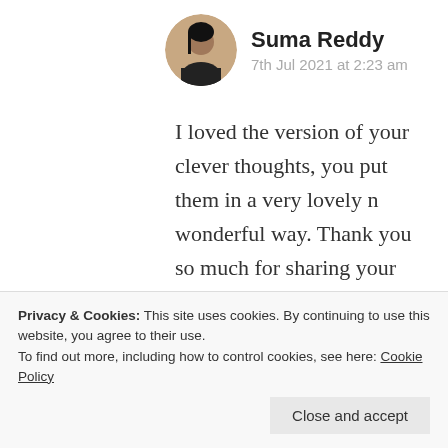[Figure (photo): Circular avatar photo of Suma Reddy]
Suma Reddy
7th Jul 2021 at 2:23 am
I loved the version of your clever thoughts, you put them in a very lovely n wonderful way. Thank you so much for sharing your views. A woman means so much more n so much Little yet sufficient to convey her heart directly to the man she loves. A man always means less in words but
Privacy & Cookies: This site uses cookies. By continuing to use this website, you agree to their use.
To find out more, including how to control cookies, see here: Cookie Policy
Close and accept